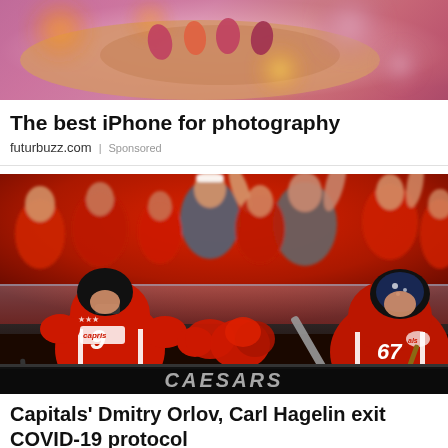[Figure (photo): Close-up photo of fingers holding colorful nail polish or similar items with blurred background]
The best iPhone for photography
futurbuzz.com | Sponsored
[Figure (photo): Washington Capitals hockey players (numbers 9 and 67) celebrating near the boards with excited fans in red behind the glass, Caesars advertising banner visible at bottom]
Capitals' Dmitry Orlov, Carl Hagelin exit COVID-19 protocol